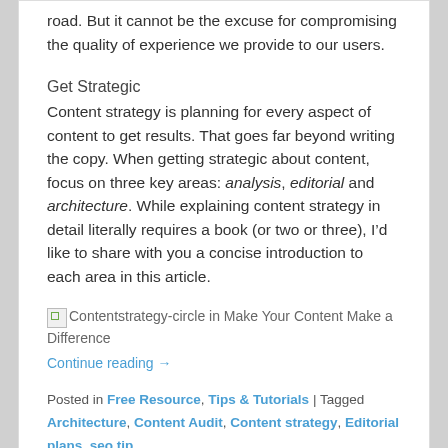road. But it cannot be the excuse for compromising the quality of experience we provide to our users.
Get Strategic
Content strategy is planning for every aspect of content to get results. That goes far beyond writing the copy. When getting strategic about content, focus on three key areas: analysis, editorial and architecture. While explaining content strategy in detail literally requires a book (or two or three), I’d like to share with you a concise introduction to each area in this article.
[Figure (photo): Broken image placeholder labeled: Contentstrategy-circle in Make Your Content Make a Difference]
Continue reading →
Posted in Free Resource, Tips & Tutorials | Tagged Architecture, Content Audit, Content strategy, Editorial plans, seo tip
Tips for Choosing a Typeface
Posted on April 8, 2011 by Sothink